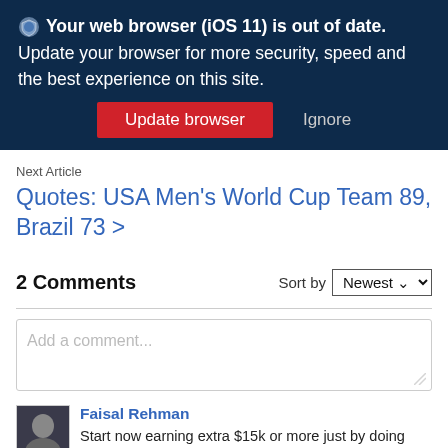🛡 Your web browser (iOS 11) is out of date. Update your browser for more security, speed and the best experience on this site. [Update browser] [Ignore]
Next Article
Quotes: USA Men's World Cup Team 89, Brazil 73 >
2 Comments
Sort by Newest
Add a comment...
Faisal Rehman
Start now earning extra $15k or more just by doing very easy and simple job from home. Last